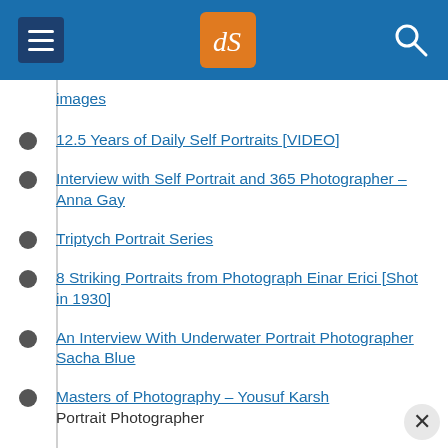dPS [Digital Photography School] – navigation header with hamburger menu, logo, and search icon
images
12.5 Years of Daily Self Portraits [VIDEO]
Interview with Self Portrait and 365 Photographer – Anna Gay
Triptych Portrait Series
8 Striking Portraits from Photograph Einar Erici [Shot in 1930]
An Interview With Underwater Portrait Photographer Sacha Blue
Masters of Photography – Yousuf Karsh Portrait Photographer